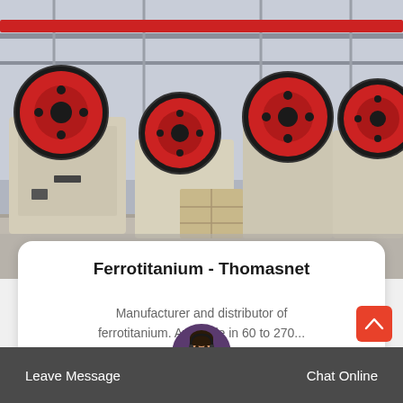[Figure (photo): Industrial factory floor showing multiple large jaw crusher machines with red circular flywheels and beige/cream colored bodies, arranged in a row inside a large warehouse with steel girder framework visible in the background.]
Ferrotitanium - Thomasnet
Manufacturer and distributor of ferrotitanium. Available in 60 to 270...
Read More >